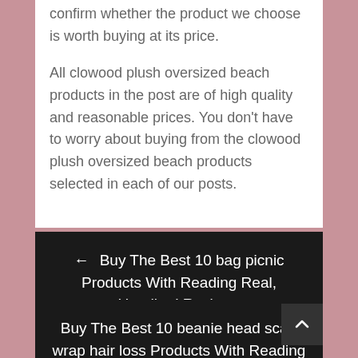confirm whether the product we choose is worth buying at its price.
All clowood plush oversized beach products in the post are of high quality and reasonable prices. You don't have to worry about buying from the clowood plush oversized beach products selected in each of our posts.
← Buy The Best 10 bag picnic Products With Reading Real, Unedited Reviews
Buy The Best 10 beanie head scarf wrap hair loss Products With Reading Real, Unedited Reviews